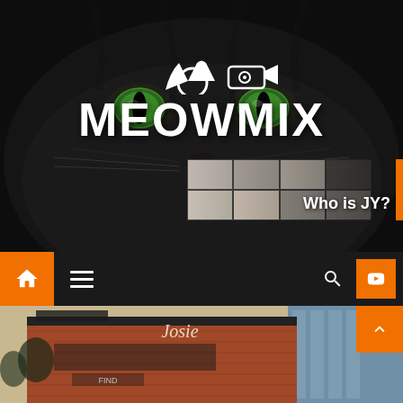[Figure (screenshot): Website screenshot showing MEOWMIX brand page. Top hero section features close-up dark cat face with glowing green eyes and white MEOWMIX logo with cat ears icon and security camera icon above it. A 'Who is JY?' banner with collage of face thumbnails appears in lower right of hero. Below is a dark navigation bar with orange home button, hamburger menu, search icon, and orange YouTube button. Bottom shows a photo of a brick building storefront.]
MEOWMIX
Who is JY?